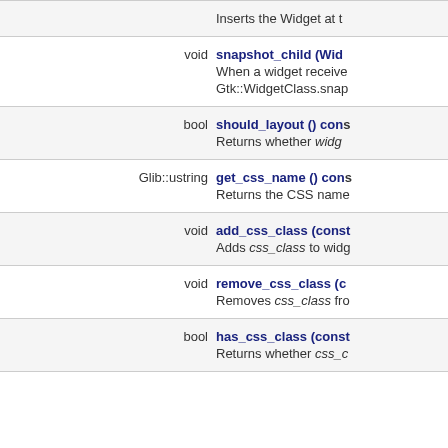| Return Type | Function |
| --- | --- |
|  | Inserts the Widget at t |
| void | snapshot_child (Wid... When a widget receives... Gtk::WidgetClass.snap |
| bool | should_layout () cons... Returns whether widg... |
| Glib::ustring | get_css_name () cons... Returns the CSS name |
| void | add_css_class (const... Adds css_class to widg... |
| void | remove_css_class (c... Removes css_class fro... |
| bool | has_css_class (const... Returns whether css_c... |